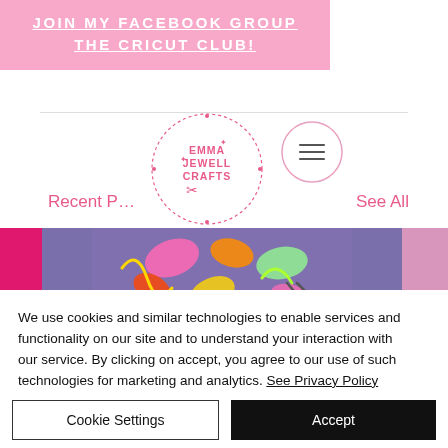JOIN MY FACEBOOK GROUP THE CRICUT CLUB!
[Figure (logo): Emma Jewell Crafts circular logo with decorative border]
[Figure (illustration): Hamburger menu circle icon in pink outline]
Recent Posts
See All
[Figure (photo): Colorful craft materials including paper shapes, scissors on purple background]
We use cookies and similar technologies to enable services and functionality on our site and to understand your interaction with our service. By clicking on accept, you agree to our use of such technologies for marketing and analytics. See Privacy Policy
Cookie Settings
Accept